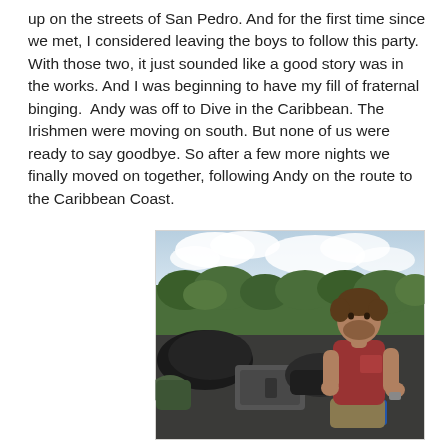up on the streets of San Pedro. And for the first time since we met, I considered leaving the boys to follow this party. With those two, it just sounded like a good story was in the works. And I was beginning to have my fill of fraternal binging.  Andy was off to Dive in the Caribbean. The Irishmen were moving on south. But none of us were ready to say goodbye. So after a few more nights we finally moved on together, following Andy on the route to the Caribbean Coast.
[Figure (photo): A young bearded man wearing a red t-shirt and khaki shorts sitting in the back of a pickup truck bed loaded with bags and equipment. Green tropical trees and a cloudy sky are visible in the background, suggesting a road trip through a tropical region.]